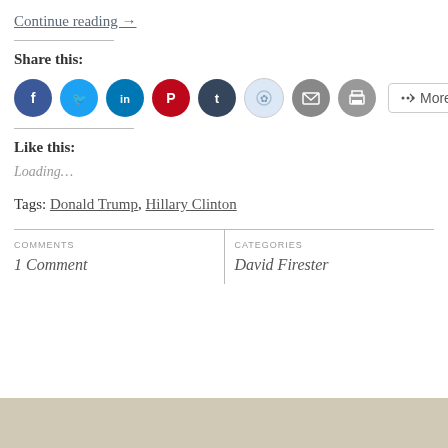Continue reading →
Share this:
[Figure (other): Social sharing icons: Facebook, Twitter, LinkedIn, Pinterest, Tumblr, Reddit, Email, Print, and More button]
Like this:
Loading...
Tags: Donald Trump, Hillary Clinton
| COMMENTS | CATEGORIES |
| --- | --- |
| 1 Comment | David Firester |